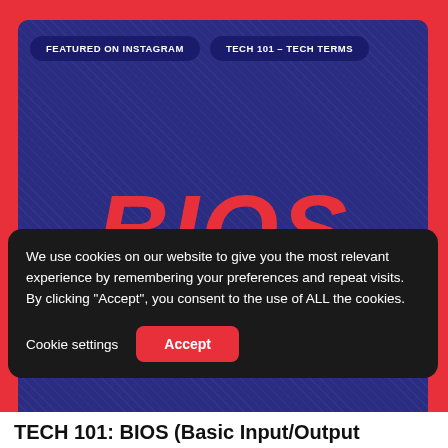FEATURED ON INSTAGRAM | TECH 101 - TECH TERMS
[Figure (infographic): Dark blue card with large red italic 'BIOS' text and subtitle 'BASIC INPUT OUTPUT SYSTEM' on a decorative diagonal-line background, on a red outer background]
We use cookies on our website to give you the most relevant experience by remembering your preferences and repeat visits. By clicking "Accept", you consent to the use of ALL the cookies.
Cookie settings | Accept
TECH 101: BIOS (Basic Input/Output